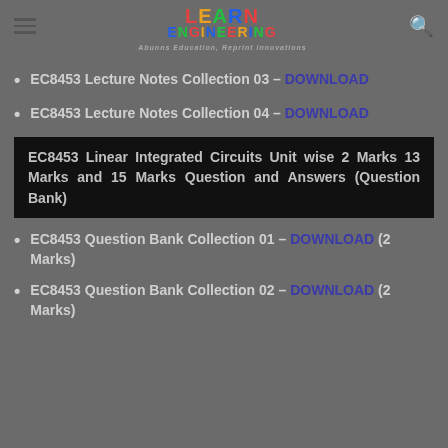LEARN ENGINEERING — Abunns Education, Reprint Innovations
EC8453 Lecture Notes Collection 03 – DOWNLOAD
EC8453 Lecture Notes Collection 04 – DOWNLOAD
EC8453 Linear Integrated Circuits Unit wise 2 Marks 13 Marks and 15 Marks Question and Answers (Question Bank)
EC8453 Question Bank Collection 01 – DOWNLOAD (2 Marks)
EC8453 Question Bank Collection 02 – DOWNLOAD (2 Marks)